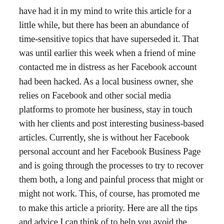have had it in my mind to write this article for a little while, but there has been an abundance of time-sensitive topics that have superseded it. That was until earlier this week when a friend of mine contacted me in distress as her Facebook account had been hacked. As a local business owner, she relies on Facebook and other social media platforms to promote her business, stay in touch with her clients and post interesting business-based articles. Currently, she is without her Facebook personal account and her Facebook Business Page and is going through the processes to try to recover them both, a long and painful process that might or might not work. This, of course, has promoted me to make this article a priority. Here are all the tips and advice I can think of to help you avoid the same pain!